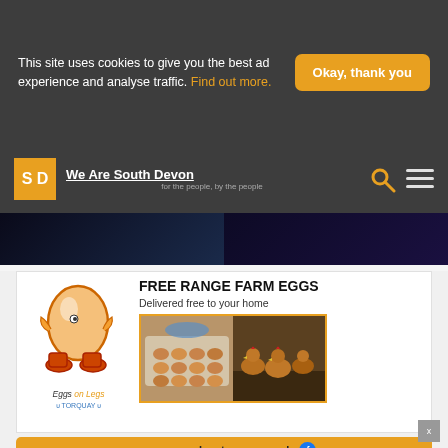This site uses cookies to give you the best ad experience and analyse traffic. Find out more.
Okay, thank you
[Figure (logo): We Are South Devon logo with SD orange square badge and search/menu icons]
[Figure (photo): Dark blue image strip with two panels]
[Figure (infographic): Eggs on Legs Torquay advertisement showing egg mascot logo, photos of eggs and chickens, text FREE RANGE FARM EGGS Delivered free to your home, and website URL]
FREE RANGE FARM EGGS
Delivered free to your home
www.eggsonlegstorquay.co.uk